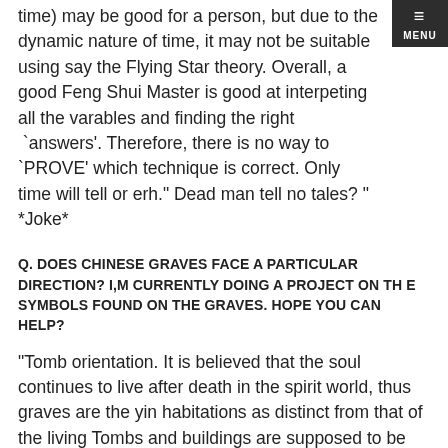time) may be good for a person, but due to the dynamic nature of time, it may not be suitable using say the Flying Star theory. Overall, a good Feng Shui Master is good at interpeting all the varables and finding the right `answers'. Therefore, there is no way to `PROVE' which technique is correct. Only time will tell or erh." Dead man tell no tales? " *Joke*
Q. DOES CHINESE GRAVES FACE A PARTICULAR DIRECTION? I,M CURRENTLY DOING A PROJECT ON TH E SYMBOLS FOUND ON THE GRAVES. HOPE YOU CAN HELP?
"Tomb orientation. It is believed that the soul continues to live after death in the spirit world, thus graves are the yin habitations as distinct from that of the living Tombs and buildings are supposed to be built where the feng shui is most favourable. Their siting is seen as a means of establishing and maintaining good fortune.